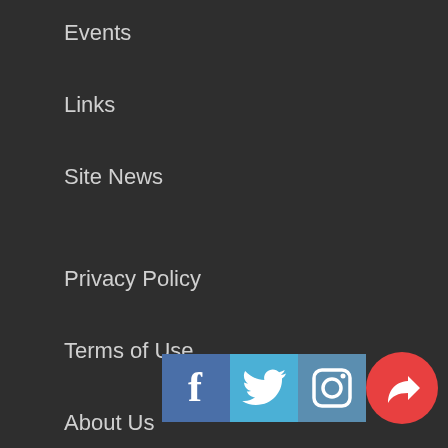Events
Links
Site News
Privacy Policy
Terms of Use
About Us
FAQs
Contact Us
[Figure (other): Social media icons: Facebook (blue square with f), Twitter (light blue square with bird), Instagram (blue-grey square with camera), Share (red circle with arrow)]